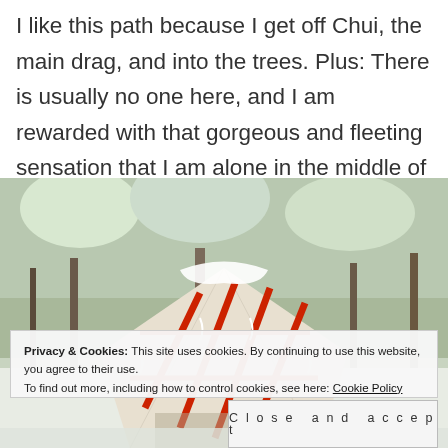I like this path because I get off Chui, the main drag, and into the trees. Plus: There is usually no one here, and I am rewarded with that gorgeous and fleeting sensation that I am alone in the middle of a city.
[Figure (photo): Photograph of a yurt with a white canvas exterior and red geometric pattern straps, covered in snow, surrounded by snow-dusted trees in winter.]
Privacy & Cookies: This site uses cookies. By continuing to use this website, you agree to their use. To find out more, including how to control cookies, see here: Cookie Policy
Close and accept